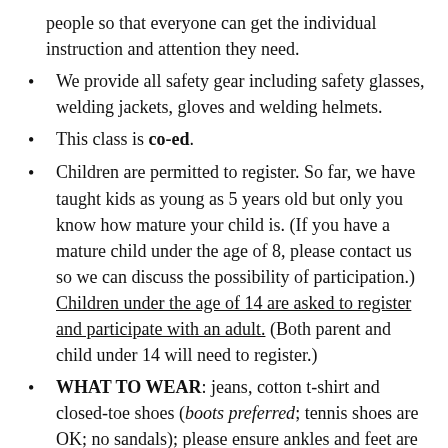people so that everyone can get the individual instruction and attention they need.
We provide all safety gear including safety glasses, welding jackets, gloves and welding helmets.
This class is co-ed.
Children are permitted to register. So far, we have taught kids as young as 5 years old but only you know how mature your child is. (If you have a mature child under the age of 8, please contact us so we can discuss the possibility of participation.) Children under the age of 14 are asked to register and participate with an adult. (Both parent and child under 14 will need to register.)
WHAT TO WEAR: jeans, cotton t-shirt and closed-toe shoes (boots preferred; tennis shoes are OK; no sandals); please ensure ankles and feet are completely covered.
FYI: if you already have your own safety glasses that fit you perfectly, you are welcome to bring them. Otherwise,